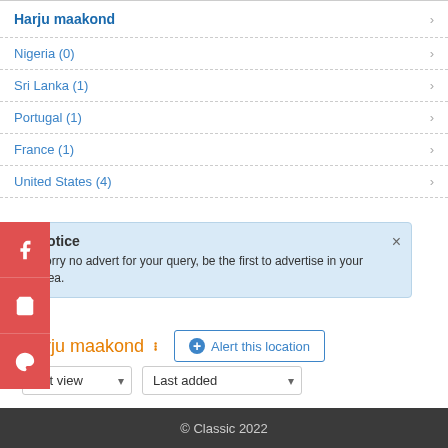Harju maakond
Nigeria (0)
Sri Lanka (1)
Portugal (1)
France (1)
United States (4)
Notice
Sorry no advert for your query, be the first to advertise in your area.
Harju maakond  Alert this location
List view  Last added
© Classic 2022